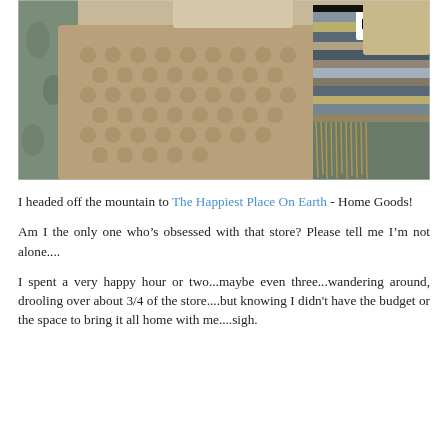[Figure (photo): Photo of home goods items including a textured tan/beige dimpled throw blanket, a DKNY branded woven multi-color fringe throw, and decorative pillows arranged on a bed or display surface.]
I headed off the mountain to The Happiest Place On Earth - Home Goods!
Am I the only one who's obsessed with that store? Please tell me I'm not alone....
I spent a very happy hour or two...maybe even three...wandering around, drooling over about 3/4 of the store....but knowing I didn't have the budget or the space to bring it all home with me....sigh.